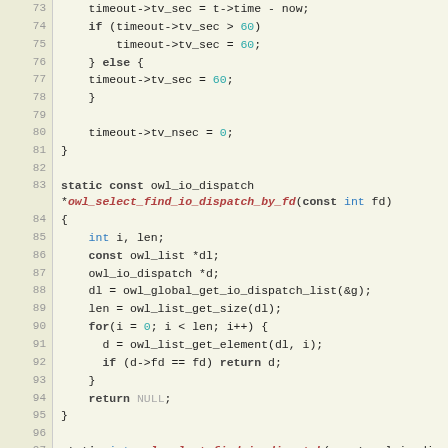[Figure (screenshot): Source code listing in C, lines 73–103, showing functions for owl_select timeout and io_dispatch lookup, with syntax highlighting: keywords in bold/blue, function names in red/italic, numeric literals in teal, on a beige/tan background with gray line numbers.]